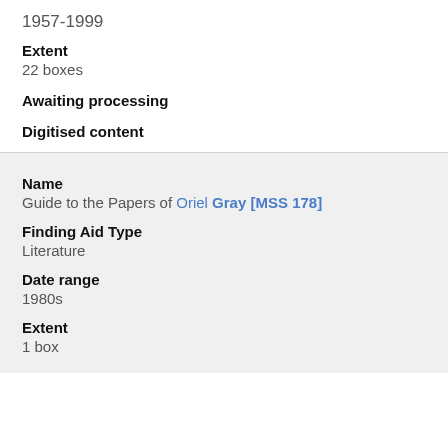1957-1999
Extent
22 boxes
Awaiting processing
Digitised content
Name
Guide to the Papers of Oriel Gray [MSS 178]
Finding Aid Type
Literature
Date range
1980s
Extent
1 box